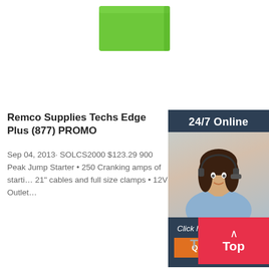[Figure (illustration): Green rectangular box/cube shape at top center of page]
Remco Supplies Techs Edge Plus (877) PROMO
Sep 04, 2013· SOLCS2000 $123.29 900 Peak Jump Starter • 250 Cranking amps of starting power • 21" cables and full size clamps • 12V Outlet
[Figure (infographic): Sidebar with '24/7 Online' header, photo of woman with headset, 'Click here for free chat!' text, and orange QUOTATION button]
[Figure (infographic): Red 'Top' button with upward arrow in bottom right corner]